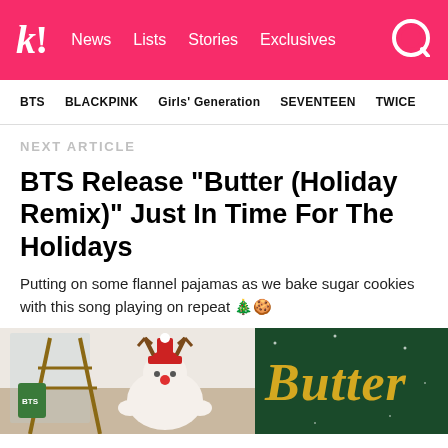k! News Lists Stories Exclusives
BTS | BLACKPINK | Girls' Generation | SEVENTEEN | TWICE
NEXT ARTICLE
BTS Release “Butter (Holiday Remix)” Just In Time For The Holidays
Putting on some flannel pajamas as we bake sugar cookies with this song playing on repeat 🎄🍪
[Figure (photo): Left: Christmas holiday scene with a reindeer plush and decorations. Right: Dark green background with gold 'Butter' text logo.]